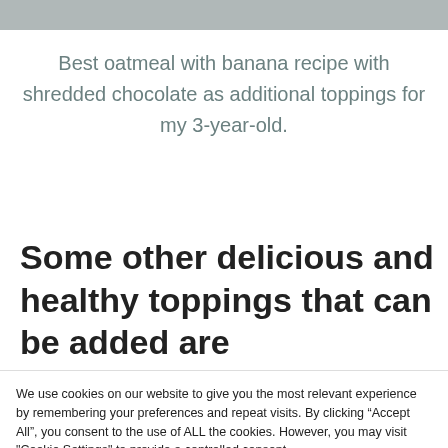[Figure (photo): Partial view of a bowl of oatmeal with banana and shredded chocolate toppings, cropped at the top of the page.]
Best oatmeal with banana recipe with shredded chocolate as additional toppings for my 3-year-old.
Some other delicious and healthy toppings that can be added are
We use cookies on our website to give you the most relevant experience by remembering your preferences and repeat visits. By clicking “Accept All”, you consent to the use of ALL the cookies. However, you may visit "Cookie Settings" to provide a controlled consent.